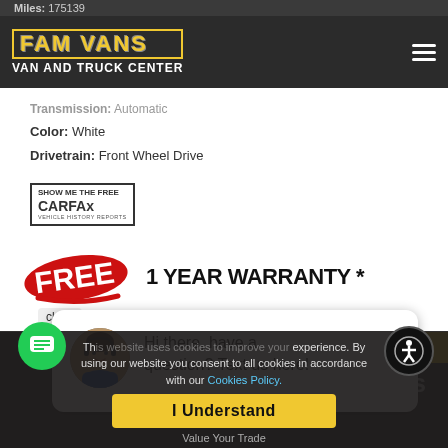Miles: 175139
[Figure (logo): FAM VANS Van and Truck Center logo on dark header bar]
Transmission: Automatic
Color: White
Drivetrain: Front Wheel Drive
[Figure (logo): Show Me The Free CARFAX Vehicle History Reports badge]
[Figure (infographic): FREE 1 YEAR WARRANTY* promotional banner with red stamp-style FREE text]
close
[Figure (photo): Chat popup with female avatar and text: Hi there, have a question? Text us here!]
Hi there, have a question? Text us here!
DETAILS
This website uses cookies to improve your experience. By using our website you consent to all cookies in accordance with our Cookies Policy.
I Understand
Value Your Trade